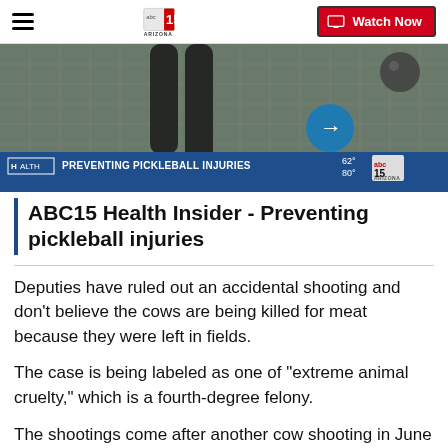ABC15 Arizona — Watch Now
[Figure (screenshot): Video thumbnail showing pickleball player legs at a net with banner reading PREVENTING PICKLEBALL INJURIES and ABC15 logo]
ABC15 Health Insider - Preventing pickleball injuries
Deputies have ruled out an accidental shooting and don't believe the cows are being killed for meat because they were left in fields.
The case is being labeled as one of "extreme animal cruelty," which is a fourth-degree felony.
The shootings come after another cow shooting in June